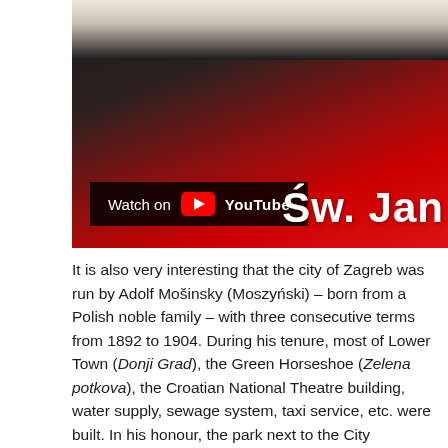[Figure (photo): A YouTube video thumbnail showing a close-up of what appears to be a red and dark-colored object (possibly a traditional hat or garment). A 'Watch on YouTube' overlay button is in the lower left corner. Large white text reading 'Św. Jan' is visible in the lower right.]
It is also very interesting that the city of Zagreb was run by Adolf Mošinsky (Moszyński) – born from a Polish noble family – with three consecutive terms from 1892 to 1904. During his tenure, most of Lower Town (Donji Grad), the Green Horseshoe (Zelena potkova), the Croatian National Theatre building, water supply, sewage system, taxi service, etc. were built. In his honour, the park next to the City Administration of Zagreb is called Adolf